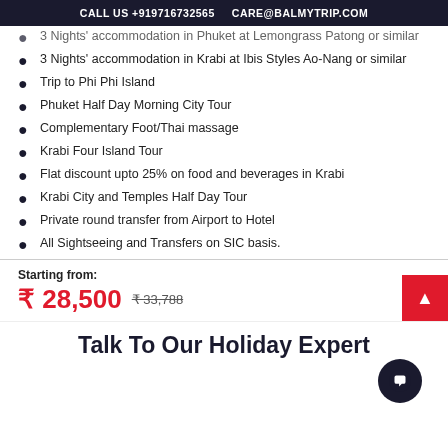CALL US +919716732565   CARE@BALMYTRIP.COM
3 Nights' accommodation in Phuket at Lemongrass Patong or similar (partial, cut off at top)
3 Nights' accommodation in Krabi at Ibis Styles Ao-Nang or similar
Trip to Phi Phi Island
Phuket Half Day Morning City Tour
Complementary Foot/Thai massage
Krabi Four Island Tour
Flat discount upto 25% on food and beverages in Krabi
Krabi City and Temples Half Day Tour
Private round transfer from Airport to Hotel
All Sightseeing and Transfers on SIC basis.
Starting from: ₹ 28,500  ₹ 33,788
Talk To Our Holiday Expert